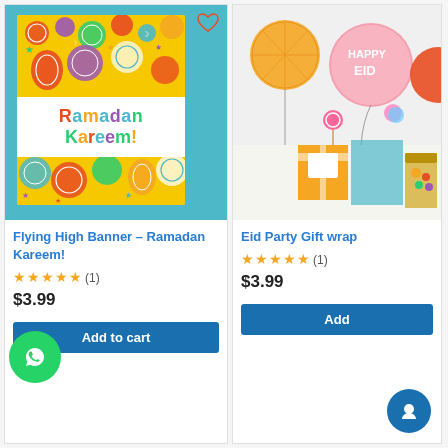[Figure (photo): Ramadan Kareem greeting card with colorful balloons on yellow background, displayed against teal/blue backdrop]
Flying High Banner - Ramadan Kareem!
★★★★★ (1)
$3.99
Add to cart
[Figure (photo): Eid Party Gift wrap product with honeycomb decorations, Happy Eid balloon, lollipops and colorful party items]
Eid Party Gift wrap
★★★★★ (1)
$3.99
Add